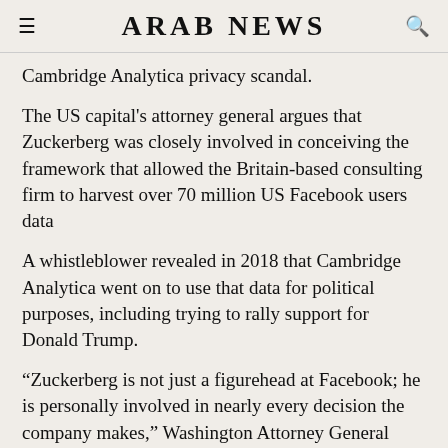ARAB NEWS
Cambridge Analytica privacy scandal.
The US capital's attorney general argues that Zuckerberg was closely involved in conceiving the framework that allowed the Britain-based consulting firm to harvest over 70 million US Facebook users data
A whistleblower revealed in 2018 that Cambridge Analytica went on to use that data for political purposes, including trying to rally support for Donald Trump.
“Zuckerberg is not just a figurehead at Facebook; he is personally involved in nearly every decision the company makes,” Washington Attorney General Karl Racine wrote in the suit...